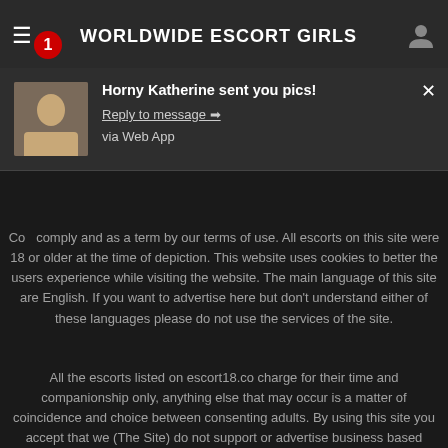WORLDWIDE ESCORT GIRLS
[Figure (screenshot): Notification popup: 'Horny Katherine sent you pics!' with Reply to message link and via Web App text, thumbnail image on left, close X button on right]
comply and as a term by our terms of use. All escorts on this site were 18 or older at the time of depiction. This website uses cookies to better the users experience while visiting the website. The main language of this site are English. If you want to advertise here but don't understand either of these languages please do not use the services of the site.
All the escorts listed on escort18.co charge for their time and companionship only, anything else that may occur is a matter of coincidence and choice between consenting adults. By using this site you accept that we (The Site) do not support or advertise business based sexual activities in any forms therefore you (The Advertiser) hereby declare that you offer your time and companionship only in your advertisement(s). You also accept that we do not support any forms of sexual activited based business partnerships therefore every advertiser on this site must be an independent individual.